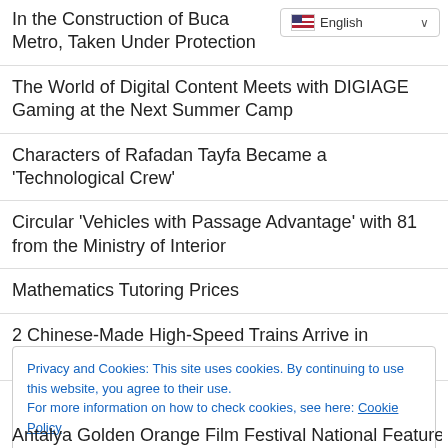In the Construction of Buca Metro, Taken Under Protection
[Figure (screenshot): English language selector dropdown button with UK/US flag icon]
The World of Digital Content Meets with DIGIAGE Gaming at the Next Summer Camp
Characters of Rafadan Tayfa Became a 'Technological Crew'
Circular 'Vehicles with Passage Advantage' with 81 from the Ministry of Interior
Mathematics Tutoring Prices
2 Chinese-Made High-Speed Trains Arrive in Indonesia
Meeting About Kayseri Rail System Network Was Held
Privacy and Cookies: This site uses cookies. By continuing to use this website, you agree to their use.
For more information on how to check cookies, see here: Cookie Policy
Antalya Golden Orange Film Festival National Feature